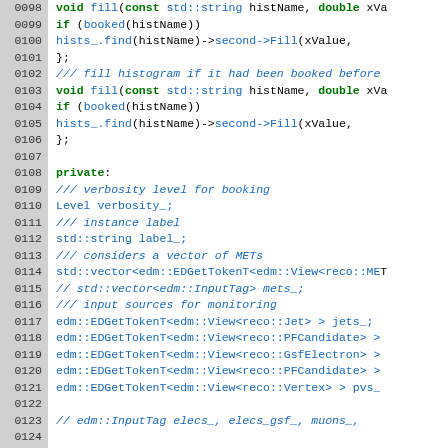Source code listing lines 0098-0127, C++ class definition with fill methods and private members including histogram management and EDGetToken declarations.